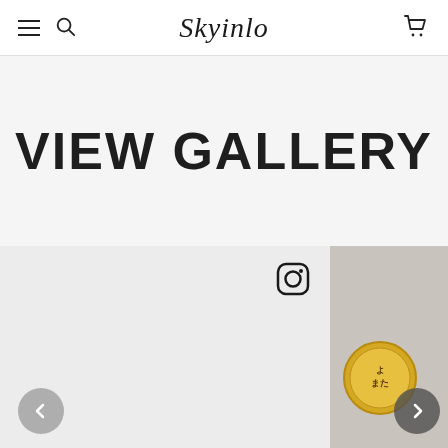Skyinlo — navigation bar with menu, search, logo, and cart
VIEW GALLERY
[Figure (screenshot): Website gallery carousel section showing a large light-gray placeholder panel on the left with an Instagram icon overlay and a left arrow navigation button, and a partial right panel showing a gold coin or badge item on a stone-textured background with a right arrow navigation button.]